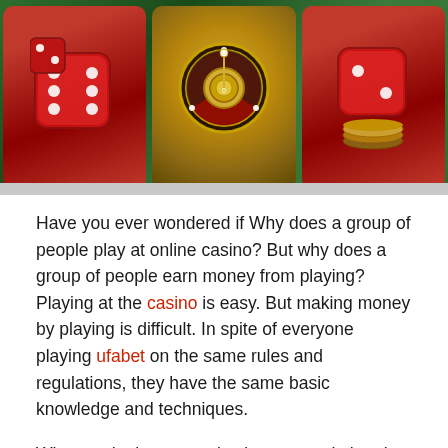[Figure (photo): Casino-themed image showing three vertical panels against a green felt background: left panel with red dice, center panel with a golden roulette wheel, right panel with red dice and casino chips.]
Have you ever wondered if Why does a group of people play at online casino? But why does a group of people earn money from playing? Playing at the casino is easy. But making money by playing is difficult. In spite of everyone playing ufabet on the same rules and regulations, they have the same basic knowledge and techniques.
What made these people victors wasn’t that they were better than others. It is because he knows how to reduce risks and increase his own advantage. Thus making him successful in playing there. 6 steps to making money from the casino. Therefore, it brings together guidelines for the